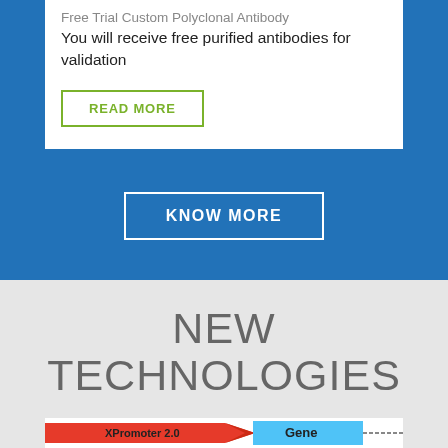Free Trial Custom Polyclonal Antibody
You will receive free purified antibodies for validation
READ MORE
KNOW MORE
NEW TECHNOLOGIES
[Figure (infographic): Diagram showing XPromoter 2.0 arrow pointing to Gene block, representing a biotech workflow or technology pipeline.]